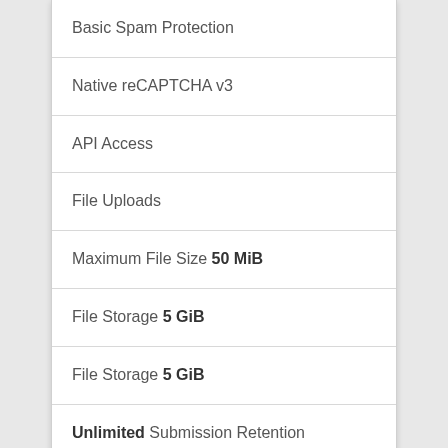Basic Spam Protection
Native reCAPTCHA v3
API Access
File Uploads
Maximum File Size 50 MiB
File Storage 5 GiB
File Storage 5 GiB
Unlimited Submission Retention